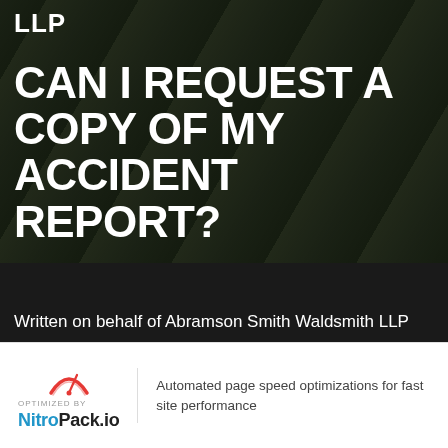LLP
CAN I REQUEST A COPY OF MY ACCIDENT REPORT?
Written on behalf of Abramson Smith Waldsmith LLP
[Figure (illustration): Yellow circular download arrow button]
[Figure (logo): NitroPack.io logo with arc icon — OPTIMIZED BY NitroPack.io]
Automated page speed optimizations for fast site performance